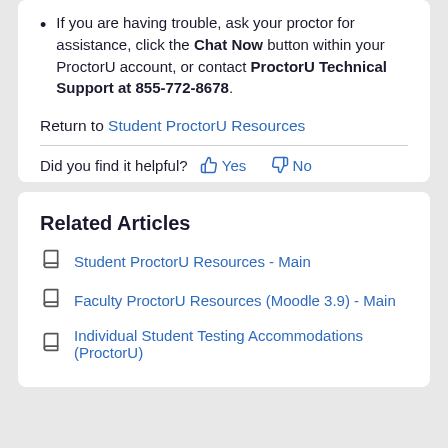If you are having trouble, ask your proctor for assistance, click the Chat Now button within your ProctorU account, or contact ProctorU Technical Support at 855-772-8678.
Return to Student ProctorU Resources
Did you find it helpful? Yes No
Related Articles
Student ProctorU Resources - Main
Faculty ProctorU Resources (Moodle 3.9) - Main
Individual Student Testing Accommodations (ProctorU)